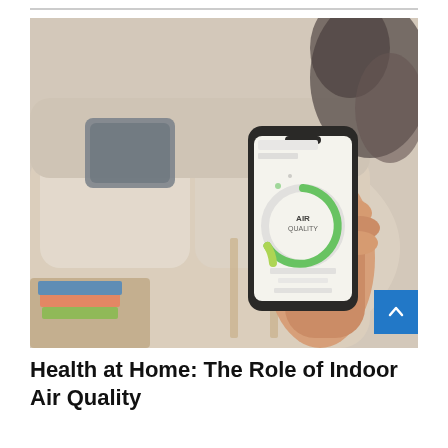[Figure (photo): A person holding a smartphone displaying an air quality monitoring app with a green circular gauge, set against a blurred living room background with a couch, side table, and stacked books.]
Health at Home: The Role of Indoor Air Quality Monitors